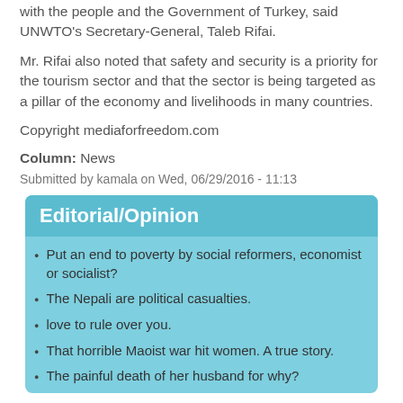with the people and the Government of Turkey, said UNWTO's Secretary-General, Taleb Rifai.
Mr. Rifai also noted that safety and security is a priority for the tourism sector and that the sector is being targeted as a pillar of the economy and livelihoods in many countries.
Copyright mediaforfreedom.com
Column: News
Submitted by kamala on Wed, 06/29/2016 - 11:13
Editorial/Opinion
Put an end to poverty by social reformers, economist or socialist?
The Nepali are political casualties.
love to rule over you.
That horrible Maoist war hit women. A true story.
The painful death of her husband for why?